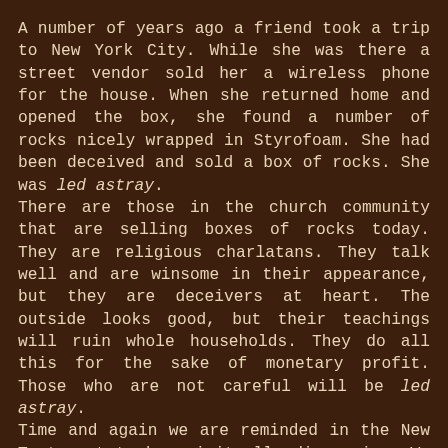A number of years ago a friend took a trip to New York City. While she was there a street vendor sold her a wireless phone for the house. When she returned home and opened the box, she found a number of rocks nicely wrapped in Styrofoam. She had been deceived and sold a box of rocks. She was led astray.
There are those in the church community that are selling boxes of rocks today. They are religious charlatans. They talk well and are winsome in their appearance, but they are deceivers at heart. The outside looks good, but their teachings will ruin whole households. They do all this for the sake of monetary profit. Those who are not careful will be led astray.
Time and again we are reminded in the New Testament to be spiritually discerning. We are counseled to tag those who teach error and rebuke them. We may be encouraged to be tolerant in many ways, but when it comes to the gospel message, we should only accept sound doctrine. "Hold firmly to the trustworthy message as it has been taught" (vs. 9) and you won't be led astray.